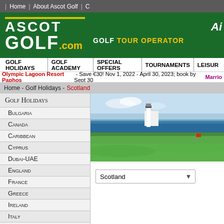Home | About Ascot Golf | C
[Figure (logo): Ascot Golf logo with yellow accent bar, white text on green background, with tagline GOLF TOUR OPERATOR]
GOLF HOLIDAYS | GOLF ACADEMY | SPECIAL OFFERS | TOURNAMENTS | LEISUR
Olympic Lagoon Resort Paphos - Save €30! Nov 1, 2022 - April 30, 2023; book by Sept 30  Marrio
Home - Golf Holidays - Scotland
Golf Holidays
Bulgaria
Canada
Caribbean
Cyprus
Dubai-UAE
England
France
Greece
Ireland
Italy
Mauritius
Mexico
[Figure (photo): Golf course photo with lighthouse and sea in background, green fairway in foreground]
Scotland (dropdown selector)